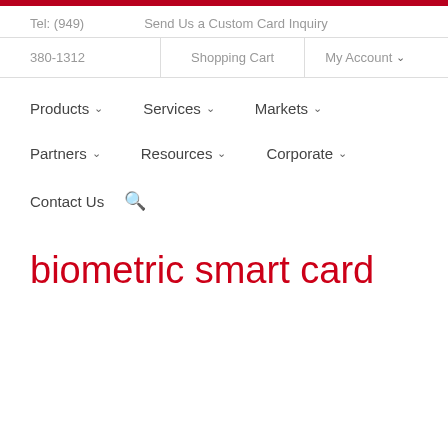Tel: (949)   Send Us a Custom Card Inquiry
380-1312   Shopping Cart   My Account
Products   Services   Markets
Partners   Resources   Corporate
Contact Us
biometric smart card